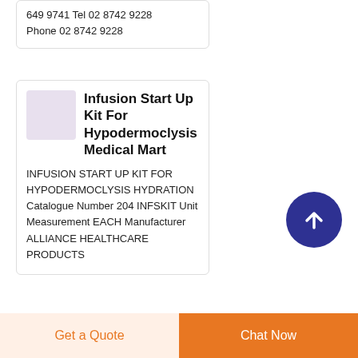649 9741 Tel 02 8742 9228 Phone 02 8742 9228
Infusion Start Up Kit For Hypodermoclysis Medical Mart
INFUSION START UP KIT FOR HYPODERMOCLYSIS HYDRATION Catalogue Number 204 INFSKIT Unit Measurement EACH Manufacturer ALLIANCE HEALTHCARE PRODUCTS
[Figure (other): Scroll-to-top button: dark navy blue circle with white upward arrow]
Get a Quote
Chat Now